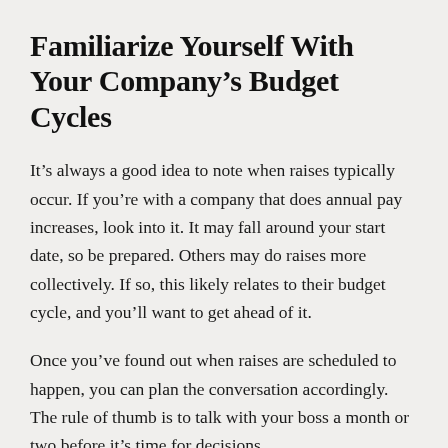Familiarize Yourself With Your Company’s Budget Cycles
It’s always a good idea to note when raises typically occur. If you’re with a company that does annual pay increases, look into it. It may fall around your start date, so be prepared. Others may do raises more collectively. If so, this likely relates to their budget cycle, and you’ll want to get ahead of it.
Once you’ve found out when raises are scheduled to happen, you can plan the conversation accordingly. The rule of thumb is to talk with your boss a month or two before it’s time for decisions